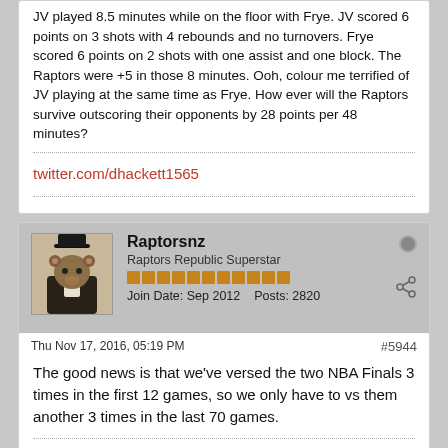JV played 8.5 minutes while on the floor with Frye. JV scored 6 points on 3 shots with 4 rebounds and no turnovers. Frye scored 6 points on 2 shots with one assist and one block. The Raptors were +5 in those 8 minutes. Ooh, colour me terrified of JV playing at the same time as Frye. How ever will the Raptors survive outscoring their opponents by 28 points per 48 minutes?
twitter.com/dhackett1565
Raptorsnz
Raptors Republic Superstar
Join Date: Sep 2012    Posts: 2820
Thu Nov 17, 2016, 05:19 PM
#5944
The good news is that we've versed the two NBA Finals 3 times in the first 12 games, so we only have to vs them another 3 times in the last 70 games.